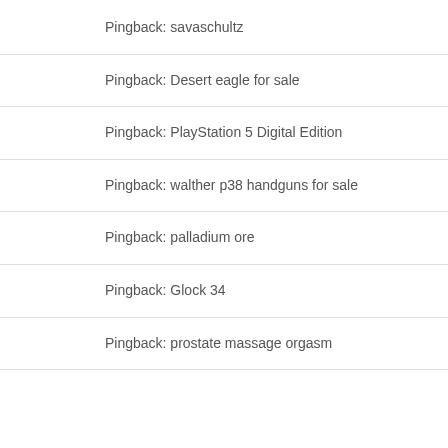Pingback: savaschultz
Pingback: Desert eagle for sale
Pingback: PlayStation 5 Digital Edition
Pingback: walther p38 handguns for sale
Pingback: palladium ore
Pingback: Glock 34
Pingback: prostate massage orgasm